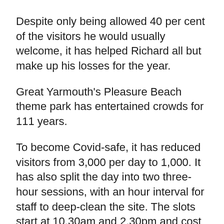Despite only being allowed 40 per cent of the visitors he would usually welcome, it has helped Richard all but make up his losses for the year.
Great Yarmouth's Pleasure Beach theme park has entertained crowds for 111 years.
To become Covid-safe, it has reduced visitors from 3,000 per day to 1,000. It has also split the day into two three-hour sessions, with an hour interval for staff to deep-clean the site. The slots start at 10.30am and 2.30pm and cost £12 per person — and with fewer people, there are shorter queues, too.
Merrivale Model Village (£6.99 per person)